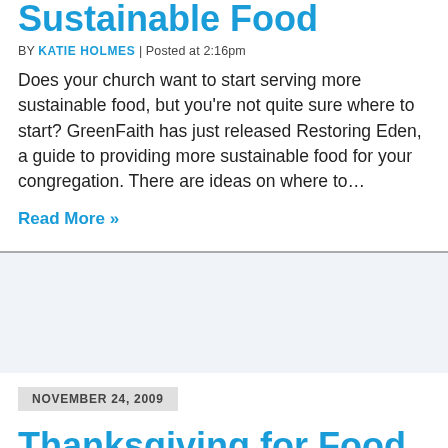Sustainable Food
BY KATIE HOLMES | Posted at 2:16pm
Does your church want to start serving more sustainable food, but you're not quite sure where to start? GreenFaith has just released Restoring Eden, a guide to providing more sustainable food for your congregation. There are ideas on where to…
Read More »
NOVEMBER 24, 2009
Thanksgiving for Food
BY KATIE HOLMES | Posted at 4:23pm